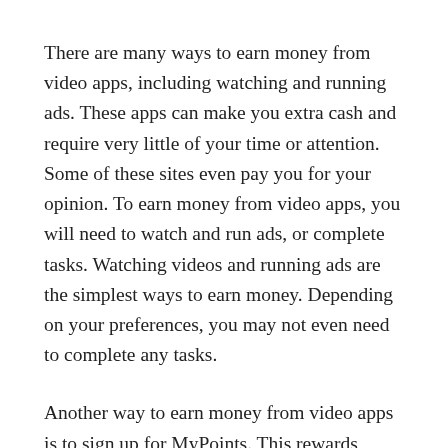There are many ways to earn money from video apps, including watching and running ads. These apps can make you extra cash and require very little of your time or attention. Some of these sites even pay you for your opinion. To earn money from video apps, you will need to watch and run ads, or complete tasks. Watching videos and running ads are the simplest ways to earn money. Depending on your preferences, you may not even need to complete any tasks.
Another way to earn money from video apps is to sign up for MyPoints. This rewards program pays users 1% – 10% of the amount of money they spend on products. MyPoints also offers free cash for watching videos on their mobile apps. All you have to do is hit the next button to continue watching the videos. If you earn $20, you'll